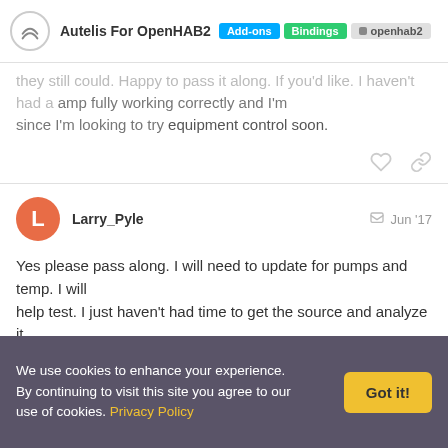Autelis For OpenHAB2 | Add-ons | Bindings | openhab2
they still could. Happy to pass it along. If you'd like. I haven't had a amp fully working correctly and I'm since I'm looking to try equipment control soon.
Larry_Pyle  Jun '17
Yes please pass along. I will need to update for pumps and temp. I will help test. I just haven't had time to get the source and analyze it.
We use cookies to enhance your experience. By continuing to visit this site you agree to our use of cookies. Privacy Policy  Got it!